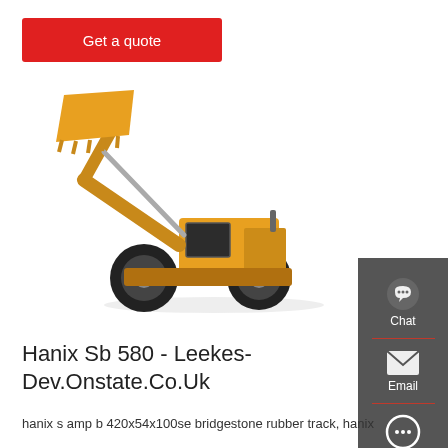Get a quote
[Figure (photo): Yellow front loader / wheel loader construction machine with raised bucket arm, shown on white background]
[Figure (infographic): Dark grey sidebar with Chat (headset icon), Email (envelope icon), and Contact (speech bubble icon) buttons with red dividers]
Hanix Sb 580 - Leekes-Dev.Onstate.Co.Uk
hanix s amp b 420x54x100se bridgestone rubber track, hanix